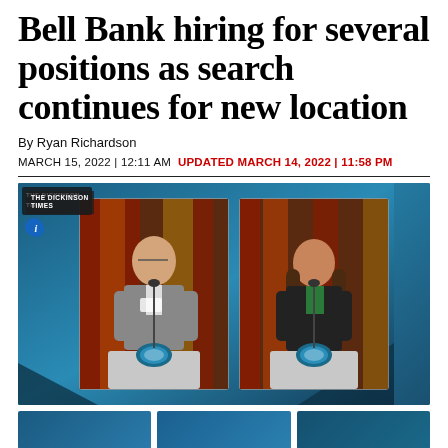Bell Bank hiring for several positions as search continues for new location
By Ryan Richardson
MARCH 15, 2022 | 12:11 AM  UPDATED MARCH 14, 2022 | 11:58 PM
[Figure (photo): Two people standing at podiums with Bell Bank logo, in front of flags and curtains. Left: a man in a grey blazer. Right: a woman in a dark blazer. The image appears to be a screenshot from a news broadcast with a watermark reading 'Dickinson Times' in the top left.]
[Figure (photo): Three thumbnail images partially visible at the bottom of the page, appearing to be related news story images with blue tones.]